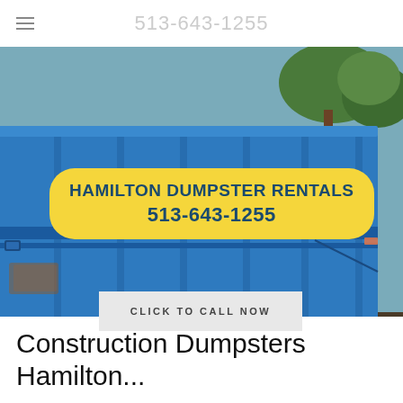513-643-1255
[Figure (photo): Large blue roll-off dumpster parked outdoors with trees in the background]
HAMILTON DUMPSTER RENTALS 513-643-1255
CLICK TO CALL NOW
Construction Dumpsters Hamilton...